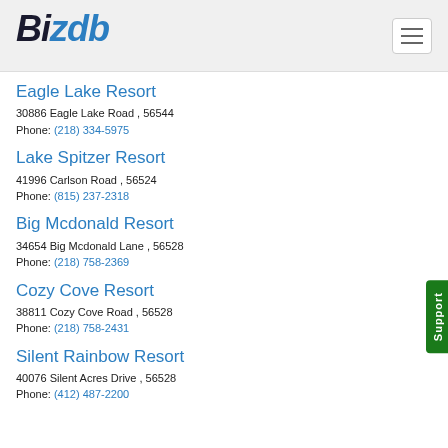BizDB
Eagle Lake Resort
30886 Eagle Lake Road , 56544
Phone: (218) 334-5975
Lake Spitzer Resort
41996 Carlson Road , 56524
Phone: (815) 237-2318
Big Mcdonald Resort
34654 Big Mcdonald Lane , 56528
Phone: (218) 758-2369
Cozy Cove Resort
38811 Cozy Cove Road , 56528
Phone: (218) 758-2431
Silent Rainbow Resort
40076 Silent Acres Drive , 56528
Phone: (412) 487-2200